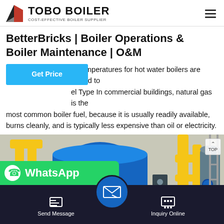TOBO BOILER — COST-EFFECTIVE BOILER SUPPLIER
BetterBricks | Boiler Operations & Boiler Maintenance | O&M
…er temperatures for hot water boilers are limited to …el Type In commercial buildings, natural gas is the most common boiler fuel, because it is usually readily available, burns cleanly, and is typically less expensive than oil or electricity.
[Figure (photo): Industrial boiler room with large blue gas boiler, yellow pipes, red components, and scaffolding structure.]
[Figure (screenshot): WhatsApp contact overlay button in green at bottom left, with Send Message and Inquiry Online bottom navigation bar.]